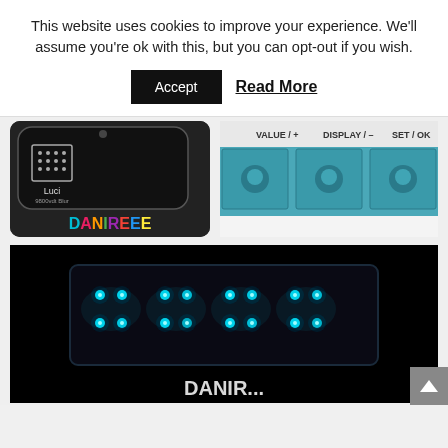This website uses cookies to improve your experience. We'll assume you're ok with this, but you can opt-out if you wish.
Accept   Read More
[Figure (screenshot): Top row: two partial screenshots side by side. Left shows a dark phone UI with a grid icon, 'Luci' label, and colorful 'DANIREEE' text. Right shows a device with teal buttons labeled VALUE/+, DISPLAY/-, SET/OK.]
[Figure (photo): Large dark photograph of an LED lighting panel showing multiple bright cyan/teal glowing lights arranged in rows against a black background, with partial 'DANIR...' text at the bottom.]